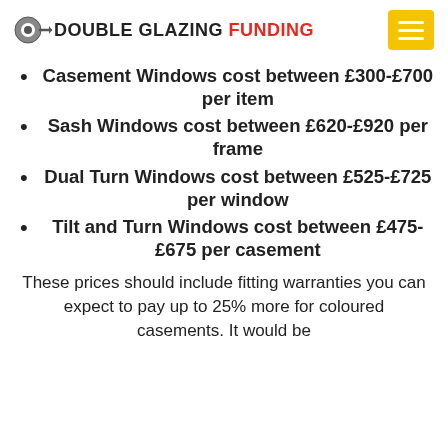DOUBLE GLAZING FUNDING
Casement Windows cost between £300-£700 per item
Sash Windows cost between £620-£920 per frame
Dual Turn Windows cost between £525-£725 per window
Tilt and Turn Windows cost between £475-£675 per casement
These prices should include fitting warranties you can expect to pay up to 25% more for coloured casements. It would be